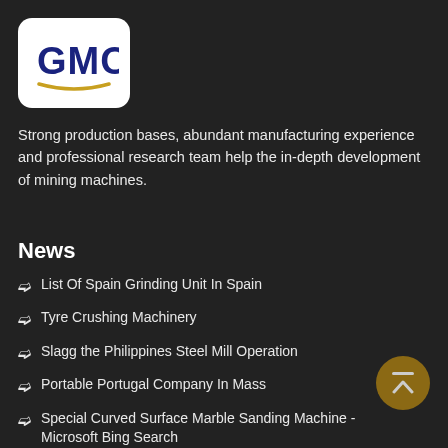[Figure (logo): GMC logo: bold dark blue letters 'GMC' with a gold arc underline on white rounded rectangle background]
Strong production bases, abundant manufacturing experience and professional research team help the in-depth development of mining machines.
News
List Of Spain Grinding Unit In Spain
Tyre Crushing Machinery
Slagg the Philippines Steel Mill Operation
Portable Portugal Company In Mass
Special Curved Surface Marble Sanding Machine - Microsoft Bing Search